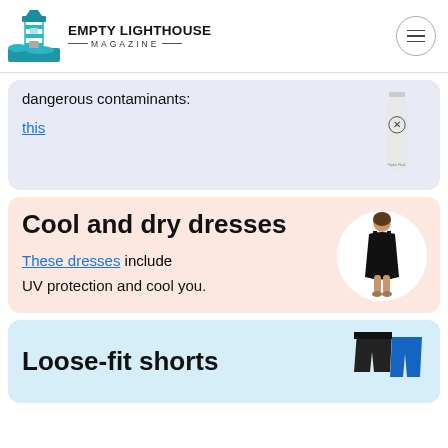EMPTY LIGHTHOUSE MAGAZINE
dangerous contaminants:
this
Cool and dry dresses
These dresses include UV protection and cool you.
Loose-fit shorts